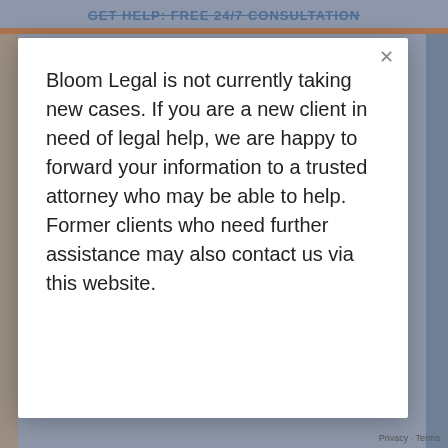GET HELP: FREE 24/7 CONSULTATION
Bloom Legal is not currently taking new cases. If you are a new client in need of legal help, we are happy to forward your information to a trusted attorney who may be able to help. Former clients who need further assistance may also contact us via this website.
Privacy · Terms